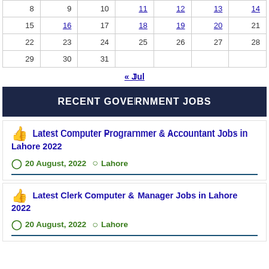| 8 | 9 | 10 | 11 | 12 | 13 | 14 |
| 15 | 16 | 17 | 18 | 19 | 20 | 21 |
| 22 | 23 | 24 | 25 | 26 | 27 | 28 |
| 29 | 30 | 31 |  |  |  |  |
« Jul
RECENT GOVERNMENT JOBS
Latest Computer Programmer & Accountant Jobs in Lahore 2022
20 August, 2022  Lahore
Latest Clerk Computer & Manager Jobs in Lahore 2022
20 August, 2022  Lahore